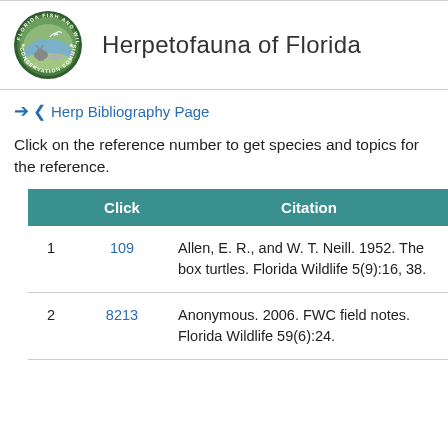Herpetofauna of Florida
❮ Herp Bibliography Page
Click on the reference number to get species and topics for the reference.
|  | Click | Citation |
| --- | --- | --- |
| 1 | 109 | Allen, E. R., and W. T. Neill. 1952. The box turtles. Florida Wildlife 5(9):16, 38. |
| 2 | 8213 | Anonymous. 2006. FWC field notes. Florida Wildlife 59(6):24. |